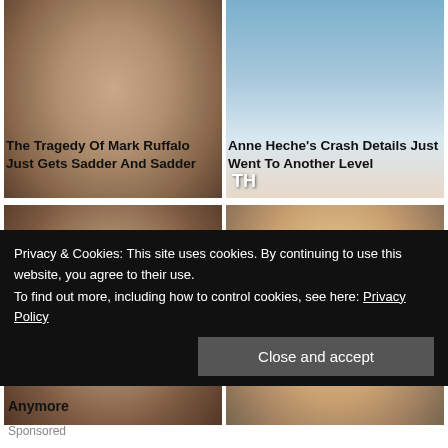[Figure (photo): Close-up photo of Mark Ruffalo, a man with stubble and dark clothing]
[Figure (photo): Close-up photo of Anne Heche, a blonde woman against a blue background with 'TH' text visible]
The Tragedy Of Mark Ruffalo Just Gets Sadder And Sadder
Anne Heche's Crash Details Just Went To Another Level
[Figure (photo): Close-up photo of a man with dark hair]
[Figure (photo): Close-up photo of a blonde woman with curly hair]
Privacy & Cookies: This site uses cookies. By continuing to use this website, you agree to their use.
To find out more, including how to control cookies, see here: Privacy Policy
Close and accept
Anymore
Sponsored